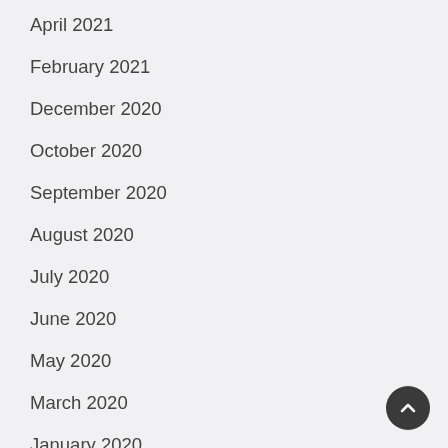April 2021
February 2021
December 2020
October 2020
September 2020
August 2020
July 2020
June 2020
May 2020
March 2020
January 2020
December 2019
June 2019